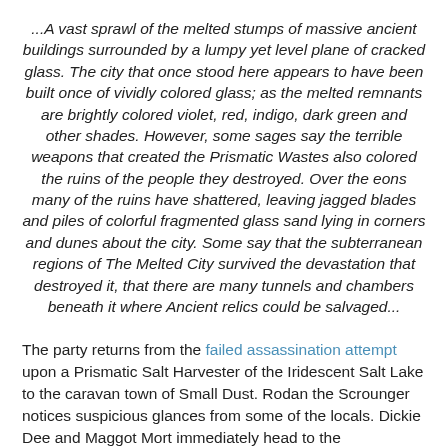...A vast sprawl of the melted stumps of massive ancient buildings surrounded by a lumpy yet level plane of cracked glass. The city that once stood here appears to have been built once of vividly colored glass; as the melted remnants are brightly colored violet, red, indigo, dark green and other shades. However, some sages say the terrible weapons that created the Prismatic Wastes also colored the ruins of the people they destroyed. Over the eons many of the ruins have shattered, leaving jagged blades and piles of colorful fragmented glass sand lying in corners and dunes about the city. Some say that the subterranean regions of The Melted City survived the devastation that destroyed it, that there are many tunnels and chambers beneath it where Ancient relics could be salvaged...
The party returns from the failed assassination attempt upon a Prismatic Salt Harvester of the Iridescent Salt Lake to the caravan town of Small Dust. Rodan the Scrounger notices suspicious glances from some of the locals. Dickie Dee and Maggot Mort immediately head to the marketplace and buy out an intoxicant distributor's supply of Eibon Matter and